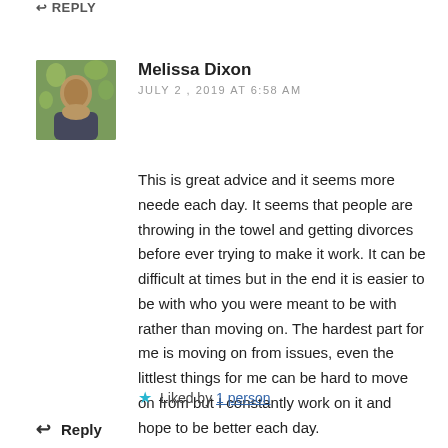↩ Reply
[Figure (photo): Profile photo of Melissa Dixon, a woman outdoors with flowers in the background]
Melissa Dixon
JULY 2, 2019 AT 6:58 AM
This is great advice and it seems more neede each day. It seems that people are throwing in the towel and getting divorces before ever trying to make it work. It can be difficult at times but in the end it is easier to be with who you were meant to be with rather than moving on. The hardest part for me is moving on from issues, even the littlest things for me can be hard to move on from but I constantly work on it and hope to be better each day.
★ Liked by 1 person
↩ Reply